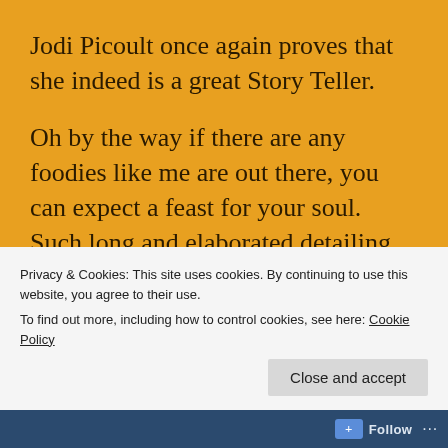Jodi Picoult once again proves that she indeed is a great Story Teller.
Oh by the way if there are any foodies like me are out there, you can expect a feast for your soul. Such long and elaborated detailing of cooking and baking give you the feeling that you are in the kitchen sitting on the table watching Sage knead and knead and twist and turn the dough.  You feel the comforting warmth of the kitchen and smell of freshly baked bread. You feel that eating good food is the closest you can feel
Privacy & Cookies: This site uses cookies. By continuing to use this website, you agree to their use.
To find out more, including how to control cookies, see here: Cookie Policy
Close and accept
Follow